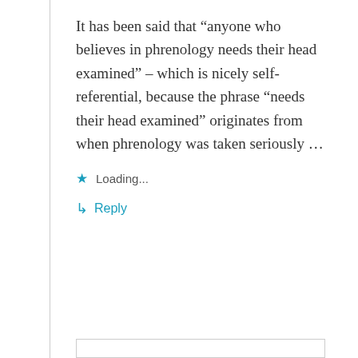It has been said that “anyone who believes in phrenology needs their head examined” – which is nicely self-referential, because the phrase “needs their head examined” originates from when phrenology was taken seriously …
★ Loading...
↳ Reply